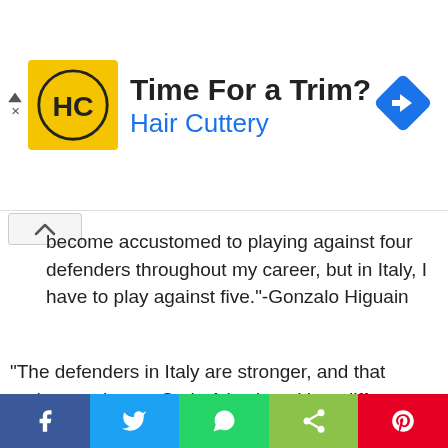[Figure (other): Hair Cuttery advertisement banner with logo and 'Time For a Trim?' heading]
become accustomed to playing against four defenders throughout my career, but in Italy, I have to play against five."-Gonzalo Higuain
"The defenders in Italy are stronger, and that makes me better. Serie A is played in a different way to other leagues."-Gonzalo Higuain
"One must never give up and always believe in one's self."-
[Figure (other): Social sharing bar with Facebook, Twitter, WhatsApp, Share, and Pinterest buttons]